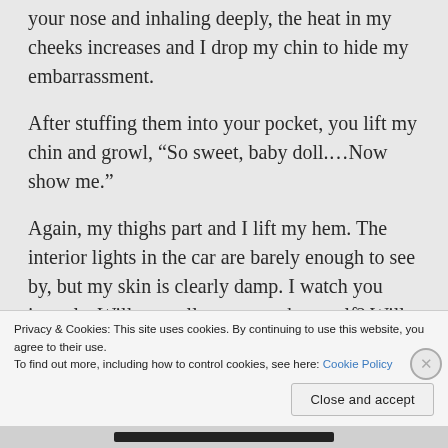your nose and inhaling deeply, the heat in my cheeks increases and I drop my chin to hide my embarrassment.
After stuffing them into your pocket, you lift my chin and growl, “So sweet, baby doll.…Now show me.”
Again, my thighs part and I lift my hem. The interior lights in the car are barely enough to see by, but my skin is clearly damp. I watch you intently. Will you tell me to touch myself? Will you reach for me? Will you simply force me to remain
Privacy & Cookies: This site uses cookies. By continuing to use this website, you agree to their use.
To find out more, including how to control cookies, see here: Cookie Policy
Close and accept